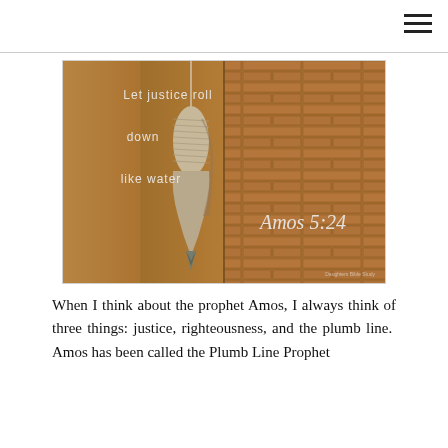[Figure (photo): Photograph of a plumb bob (a pointed metal weight wrapped with string/twine) hanging against a brick wall background. Overlaid white text reads: 'Let justice roll down like water' and 'Amos 5:24'. Small watermark text in lower right corner.]
When I think about the prophet Amos, I always think of three things: justice, righteousness, and the plumb line.  Amos has been called the Plumb Line Prophet